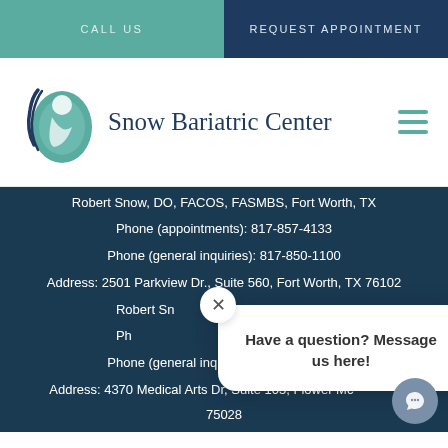CALL US
REQUEST APPOINTMENT
[Figure (logo): Snow Bariatric Center logo with teal bird/figure inside oval and navy text]
Robert Snow, DO, FACOS, FASMBS, Fort Worth, TX
Phone (appointments): 817-857-4133
Phone (general inquiries): 817-850-1100
Address: 2501 Parkview Dr., Suite 560, Fort Worth, TX 76102
Robert Snow, DO, FACOS, FASMBS, Fort Worth, TX
Ph...
Phone (general inquiries): 817-850-1100
Address: 4370 Medical Arts Dr, Suite 105, Flower Mc... 75028
Have a question? Message us here!